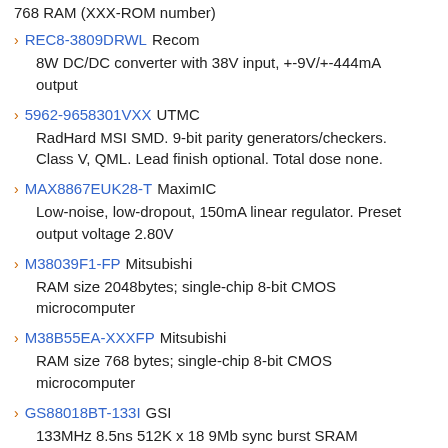768 RAM (XXX-ROM number)
REC8-3809DRWL Recom
8W DC/DC converter with 38V input, +-9V/+-444mA output
5962-9658301VXX UTMC
RadHard MSI SMD. 9-bit parity generators/checkers. Class V, QML. Lead finish optional. Total dose none.
MAX8867EUK28-T MaximIC
Low-noise, low-dropout, 150mA linear regulator. Preset output voltage 2.80V
M38039F1-FP Mitsubishi
RAM size 2048bytes; single-chip 8-bit CMOS microcomputer
M38B55EA-XXXFP Mitsubishi
RAM size 768 bytes; single-chip 8-bit CMOS microcomputer
GS88018BT-133I GSI
133MHz 8.5ns 512K x 18 9Mb sync burst SRAM